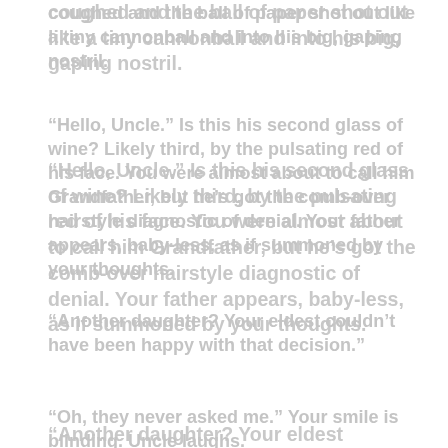coughed and the ball of paper shot out like a tiny cannonball and into his big, gaping nostril.
“Hello, Uncle.” Is this his second glass of wine? Likely third, by the pulsating red of his face. You were almost about to call him Grandfather, but he’s got the comb-over hairstyle diagnostic of denial. Your father appears, baby-less, as if summoned by your thoughts.
“Another daughter? Your eldest couldn’t have been happy with that decision.”
“Oh, they never asked me.” Your smile is blinding. Uncle laughs.
“It must be so much easier looking